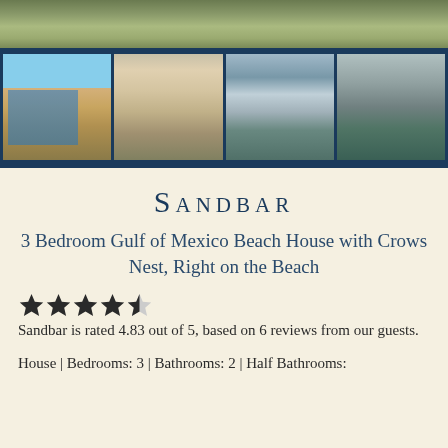[Figure (photo): Top panoramic photo strip showing grass/dunes landscape]
[Figure (photo): Row of four beach house photos: stilt house, sandy path aerial, aerial beach community view, and partial fourth photo]
Sandbar
3 Bedroom Gulf of Mexico Beach House with Crows Nest, Right on the Beach
Sandbar is rated 4.83 out of 5, based on 6 reviews from our guests.
House | Bedrooms: 3 | Bathrooms: 2 | Half Bathrooms: